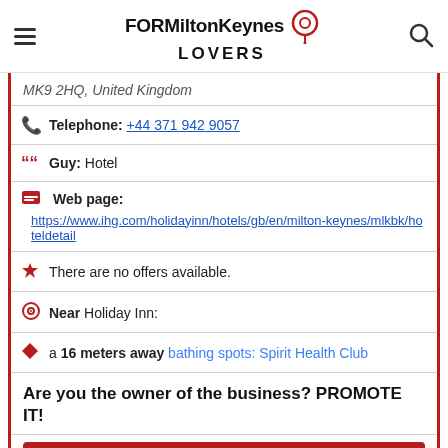FORMiltonKeynes LOVERS
MK9 2HQ, United Kingdom
Telephone: +44 371 942 9057
Guy: Hotel
Web page: https://www.ihg.com/holidayinn/hotels/gb/en/milton-keynes/mlkbk/hoteldetail
There are no offers available.
Near Holiday Inn:
a 16 meters away bathing spots: Spirit Health Club
Are you the owner of the business? PROMOTE IT!